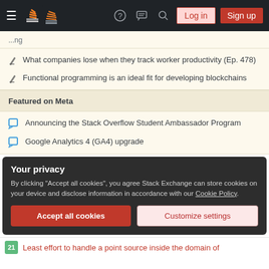Stack Overflow navigation bar with logo, help, chat, search, log in, sign up
What companies lose when they track worker productivity (Ep. 478)
Functional programming is an ideal fit for developing blockchains
Featured on Meta
Announcing the Stack Overflow Student Ambassador Program
Google Analytics 4 (GA4) upgrade
Your privacy
By clicking "Accept all cookies", you agree Stack Exchange can store cookies on your device and disclose information in accordance with our Cookie Policy.
Accept all cookies | Customize settings
Least effort to handle a point source inside the domain of